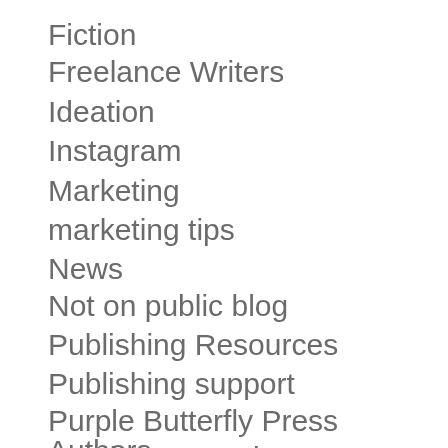Fiction
Freelance Writers
Ideation
Instagram
Marketing
marketing tips
News
Not on public blog
Publishing Resources
Publishing support
Purple Butterfly Press Authors
Services & products